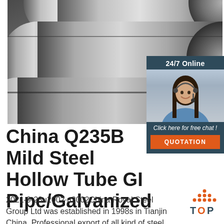[Figure (photo): Close-up photo of three large round mild steel bars / rods laid parallel on a surface, showing metallic grey surface texture]
[Figure (infographic): Chat widget showing 24/7 Online label, photo of a smiling female customer service representative with headset, 'Click here for free chat!' text, and an orange QUOTATION button]
China Q235B Mild Steel Hollow Tube GI Pipe/Galvanized ...
2021-9-23u2002·u2002China Royal Steel Group Ltd was established in 1998s in Tianjin China. Professional export of all kind of steel products
[Figure (logo): TOP logo in orange and dark color with dot pattern forming a triangle/apex shape above the word TOP]